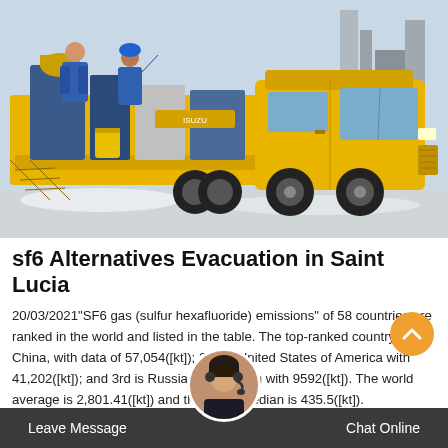[Figure (photo): A yellow utility/service truck with workers in blue jumpsuits loading or operating equipment on a flatbed with stairs, parked in a snowy/industrial area.]
sf6 Alternatives Evacuation in Saint Lucia
20/03/2021"SF6 gas (sulfur hexafluoride) emissions" of 58 countries are ranked in the world and listed in the table. The top-ranked country is China, with data of 57,054([kt]); 2nd is United States of America with 41,202([kt]); and 3rd is Russian Federation with 9592([kt]). The world average is 2,801.41([kt]) and the world median is 435.5([kt]).
Leave Message   Chat Online